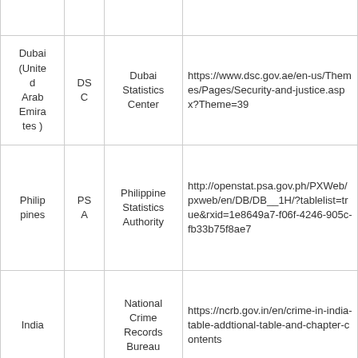| Country | Abbreviation | Agency | URL |
| --- | --- | --- | --- |
| Dubai (United Arab Emirates) | DSC | Dubai Statistics Center | https://www.dsc.gov.ae/en-us/Themes/Pages/Security-and-justice.aspx?Theme=39 |
| Philippines | PSA | Philippine Statistics Authority | http://openstat.psa.gov.ph/PXWeb/pxweb/en/DB/DB__1H/?tablelist=true&rxid=1e8649a7-f06f-4246-905c-fb33b75f8ae7 |
| India |  | National Crime Records Bureau | https://ncrb.gov.in/en/crime-in-india-table-addtional-table-and-chapter-contents |
| Iceland |  | Statistics Iceland | https://www.statice.is/statistics/society/justice/crime/ |